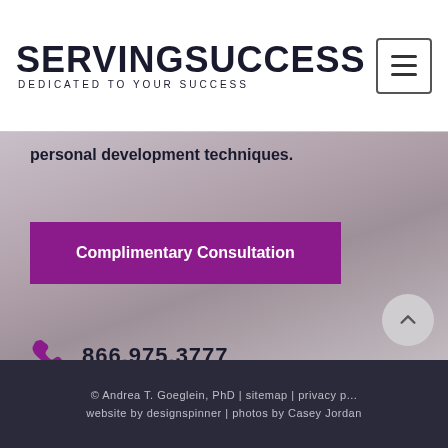SERVINGSUCCESS — DEDICATED TO YOUR SUCCESS
personal development techniques.
Complimentary Consultation
866.975.3777
© Andrea T. Goeglein, PhD | sitemap | privacy p... website by designspinner | photos by Casey Jordan